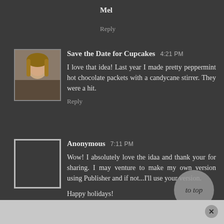Mel
Reply
Save the Date for Cupcakes  4:21 PM
I love that idea! Last year I made pretty peppermint hot chocolate packets with a candycane stirrer. They were a hit.
Reply
Anonymous  7:11 PM
Wow! I absolutely love the idaa and thank your for sharing. I may venture to make my own version using Publisher and if not...I'll use your version.

Happy holidays!
Reply
to top